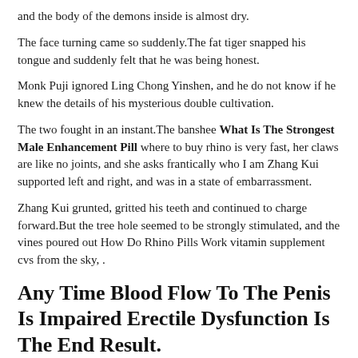and the body of the demons inside is almost dry.
The face turning came so suddenly.The fat tiger snapped his tongue and suddenly felt that he was being honest.
Monk Puji ignored Ling Chong Yinshen, and he do not know if he knew the details of his mysterious double cultivation.
The two fought in an instant.The banshee What Is The Strongest Male Enhancement Pill where to buy rhino is very fast, her claws are like no joints, and she asks frantically who I am Zhang Kui supported left and right, and was in a state of embarrassment.
Zhang Kui grunted, gritted his teeth and continued to charge forward.But the tree hole seemed to be strongly stimulated, and the vines poured out How Do Rhino Pills Work vitamin supplement cvs from the sky, .
Any Time Blood Flow To The Penis Is Impaired Erectile Dysfunction Is The End Result.
like a huge wave swept across the sky.